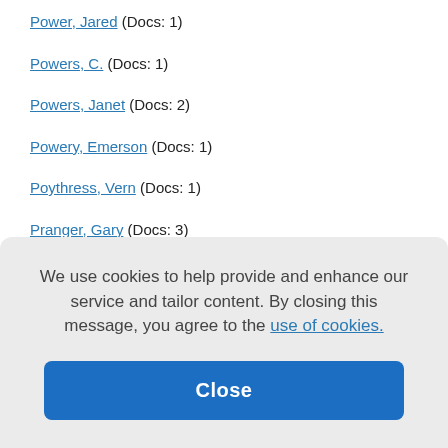Power, Jared (Docs: 1)
Powers, C. (Docs: 1)
Powers, Janet (Docs: 2)
Powery, Emerson (Docs: 1)
Poythress, Vern (Docs: 1)
Pranger, Gary (Docs: 3)
Prescott, Carolyn (Docs: 1)
We use cookies to help provide and enhance our service and tailor content. By closing this message, you agree to the use of cookies.
Close